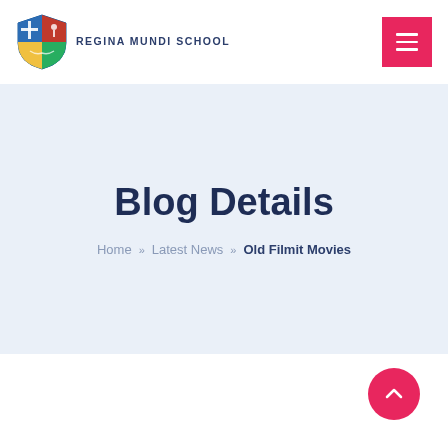REGINA MUNDI SCHOOL
Blog Details
Home » Latest News » Old Filmit Movies